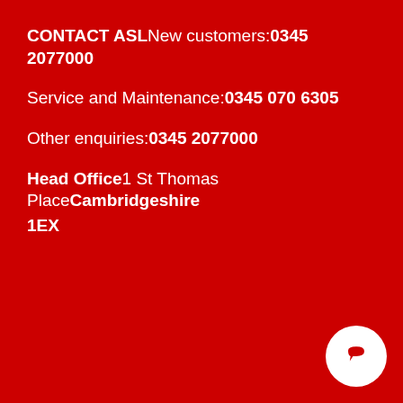CONTACT ASLNew customers:0345 2077000
Service and Maintenance:0345 070 6305
Other enquiries:0345 2077000
Head Office1 St Thomas PlaceCambridgeshire 1EX
Cookies
This site uses cookies to offer you a better browsing experience. Find out more on how we use cookies and how you can change your settings.
I accept cookies
[Figure (other): Chat/message button circle icon in white]